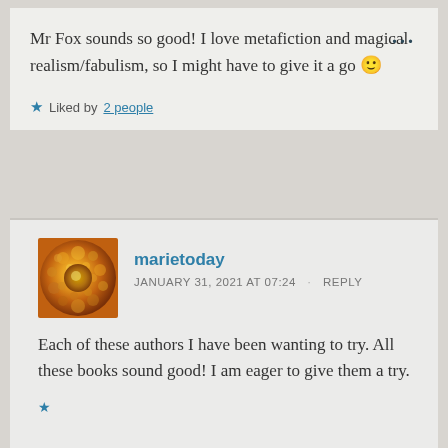Mr Fox sounds so good! I love metafiction and magical realism/fabulism, so I might have to give it a go 🙂
★ Liked by 2 people
[Figure (photo): Avatar image of marietoday - orange/yellow flower macro photo]
marietoday
JANUARY 31, 2021 AT 07:24 · REPLY
Each of these authors I have been wanting to try. All these books sound good! I am eager to give them a try.